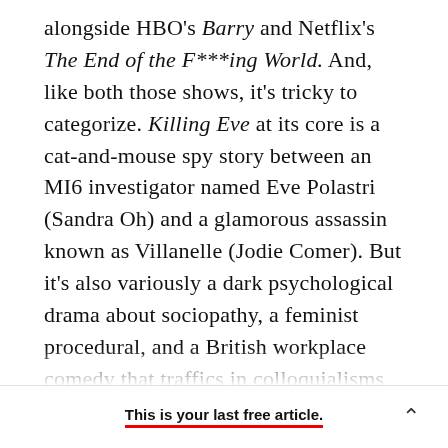alongside HBO's Barry and Netflix's The End of the F***ing World. And, like both those shows, it's tricky to categorize. Killing Eve at its core is a cat-and-mouse spy story between an MI6 investigator named Eve Polastri (Sandra Oh) and a glamorous assassin known as Villanelle (Jodie Comer). But it's also variously a dark psychological drama about sociopathy, a feminist procedural, and a British workplace comedy that traffics in colloquialisms like dickswab, monkeydick, and heroin Polish. Villanelle as a character would fit seamlessly into a forward-thinking espionage thriller; Eve often [continues]
This is your last free article.